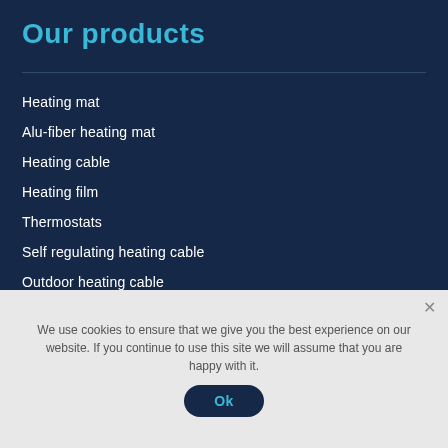Our products
Heating mat
Alu-fiber heating mat
Heating cable
Heating film
Thermostats
Self regulating heating cable
Outdoor heating cable
Outdoor infrared heater
Heating panels
We use cookies to ensure that we give you the best experience on our website. If you continue to use this site we will assume that you are happy with it.